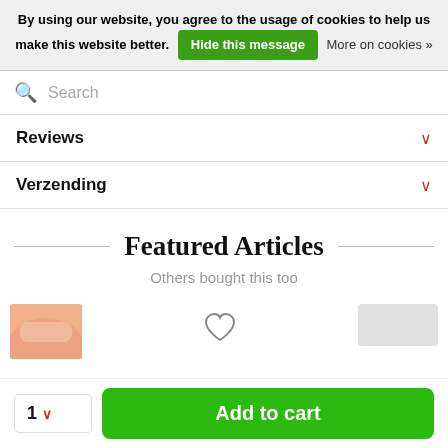By using our website, you agree to the usage of cookies to help us make this website better. Hide this message  More on cookies »
Search
Reviews
Verzending
Featured Articles
Others bought this too
[Figure (photo): Partial product thumbnail image showing fingers/hand, alongside a heart (wishlist) icon and a partially visible price box]
1  Add to cart